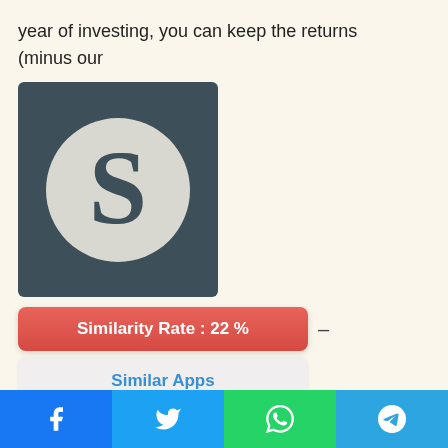year of investing, you can keep the returns (minus our
[Figure (logo): App logo with dark teal/slate background and a large serif letter S in a light gray circle]
Similarity Rate : 22 %
Similar Apps
[Figure (infographic): Bottom navigation bar with Facebook, Twitter, WhatsApp, and Telegram share buttons]